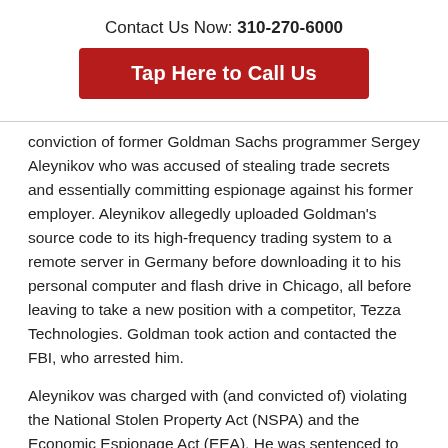Contact Us Now: 310-270-6000
Tap Here to Call Us
conviction of former Goldman Sachs programmer Sergey Aleynikov who was accused of stealing trade secrets and essentially committing espionage against his former employer. Aleynikov allegedly uploaded Goldman's source code to its high-frequency trading system to a remote server in Germany before downloading it to his personal computer and flash drive in Chicago, all before leaving to take a new position with a competitor, Tezza Technologies. Goldman took action and contacted the FBI, who arrested him.
Aleynikov was charged with (and convicted of) violating the National Stolen Property Act (NSPA) and the Economic Espionage Act (EEA). He was sentenced to eight years in prison.